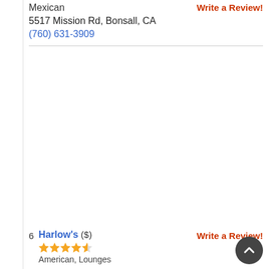Mexican
5517 Mission Rd, Bonsall, CA
(760) 631-3909
Write a Review!
6  Harlow's ($)
[Figure (other): 4.5 star rating shown as filled orange stars]
American, Lounges
Write a Review!